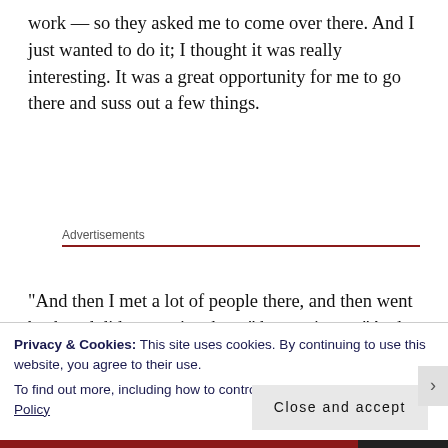work — so they asked me to come over there. And I just wanted to do it; I thought it was really interesting. It was a great opportunity for me to go there and suss out a few things.
Advertisements
“And then I met a lot of people there, and then went back and did some gigs there,” he continues. “And made friends with a few people that I probably wouldn’t
Privacy & Cookies: This site uses cookies. By continuing to use this website, you agree to their use.
To find out more, including how to control cookies, see here: Cookie Policy
Close and accept